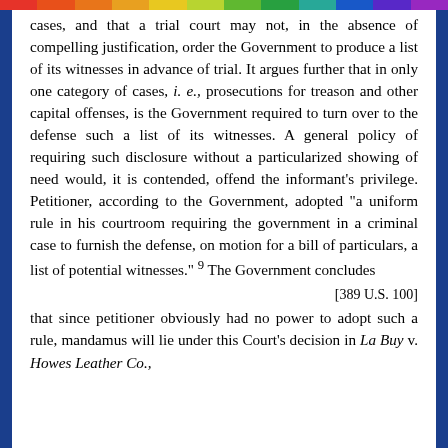cases, and that a trial court may not, in the absence of compelling justification, order the Government to produce a list of its witnesses in advance of trial. It argues further that in only one category of cases, i. e., prosecutions for treason and other capital offenses, is the Government required to turn over to the defense such a list of its witnesses. A general policy of requiring such disclosure without a particularized showing of need would, it is contended, offend the informant's privilege. Petitioner, according to the Government, adopted "a uniform rule in his courtroom requiring the government in a criminal case to furnish the defense, on motion for a bill of particulars, a list of potential witnesses." 9 The Government concludes
[389 U.S. 100]
that since petitioner obviously had no power to adopt such a rule, mandamus will lie under this Court's decision in La Buy v. Howes Leather Co.,